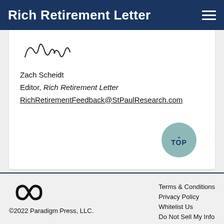Rich Retirement Letter
[Figure (illustration): Handwritten signature (cursive)]
Zach Scheidt
Editor, Rich Retirement Letter
RichRetirementFeedback@StPaulResearch.com
[Figure (other): TOP back-to-top button, circular teal button with upward arrow and 'TOP' text]
©2022 Paradigm Press, LLC.
Terms & Conditions | Privacy Policy | Whitelist Us | Do Not Sell My Info